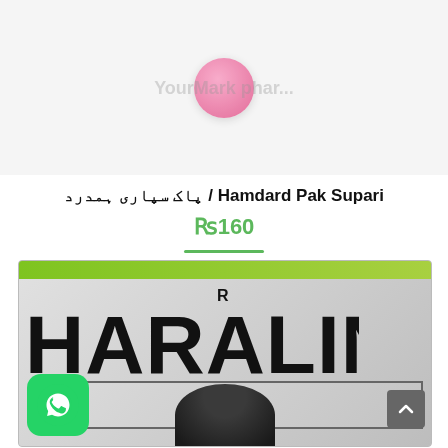[Figure (photo): Top portion of product image showing a small round pink candy/supari on a white background with faint watermark text]
پاک سپاری ہمدرد / Hamdard Pak Supari
Rs160
[Figure (photo): Close-up photo of a product package labeled HARALIN with a registered trademark R symbol and a partial image of a person's head at the bottom. A green WhatsApp icon button is visible at the bottom left and a grey scroll-up arrow button at the bottom right.]